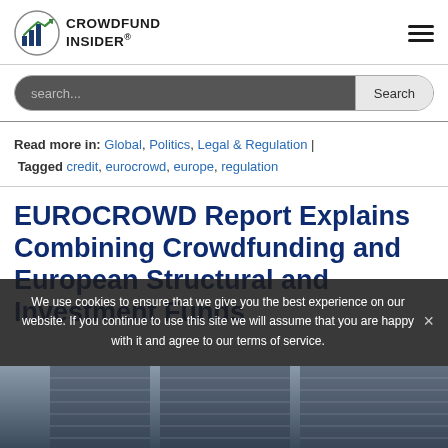CROWDFUND INSIDER
Read more in: Global, Politics, Legal & Regulation | Tagged credit, eurocrowd, europe, regulation
EUROCROWD Report Explains Combining Crowdfunding and European Structural and Investment Funds
We use cookies to ensure that we give you the best experience on our website. If you continue to use this site we will assume that you are happy with it and agree to our terms of service.
[Figure (photo): Building exterior photograph, partially visible at bottom of page]